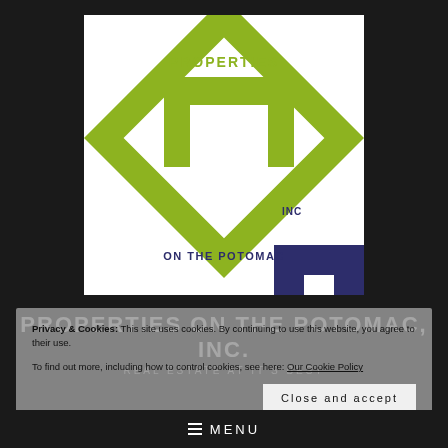[Figure (logo): Properties on the Potomac, Inc. company logo — a diamond-shaped design with green and dark navy blue geometric letter forms spelling out 'PROPERTIES ON THE POTOMAC INC' on a white square background]
PROPERTIES ON THE POTOMAC, INC.
REAL ESTATE AT IT'S BEST
Privacy & Cookies: This site uses cookies. By continuing to use this website, you agree to their use. To find out more, including how to control cookies, see here: Our Cookie Policy
Close and accept
≡ MENU